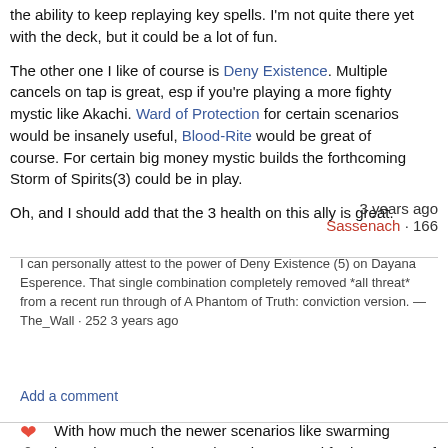the ability to keep replaying key spells. I'm not quite there yet with the deck, but it could be a lot of fun.
The other one I like of course is Deny Existence. Multiple cancels on tap is great, esp if you're playing a more fighty mystic like Akachi. Ward of Protection for certain scenarios would be insanely useful, Blood-Rite would be great of course. For certain big money mystic builds the forthcoming Storm of Spirits(3) could be in play.
Oh, and I should add that the 3 health on this ally is great.
3 years ago
Sassenach · 166
I can personally attest to the power of Deny Existence (5) on Dayana Esperence. That single combination completely removed *all threat* from a recent run through of A Phantom of Truth: conviction version. — The_Wall · 252 3 years ago
Add a comment
With how much the newer scenarios like swarming investigators, there can be only one card for her. Storm of Spirits. Getting the new value of the larger enemies being…